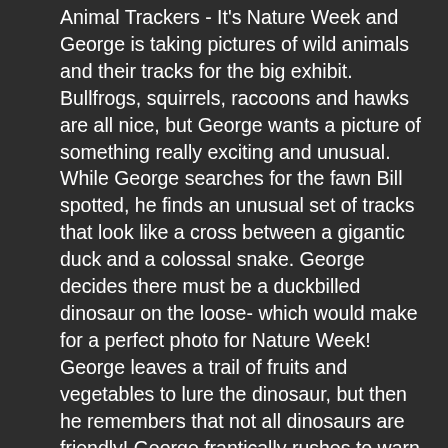Animal Trackers - It's Nature Week and George is taking pictures of wild animals and their tracks for the big exhibit. Bullfrogs, squirrels, raccoons and hawks are all nice, but George wants a picture of something really exciting and unusual. While George searches for the fawn Bill spotted, he finds an unusual set of tracks that look like a cross between a gigantic duck and a colossal snake. George decides there must be a duckbilled dinosaur on the loose- which would make for a perfect photo for Nature Week! George leaves a trail of fruits and vegetables to lure the dinosaur, but then he remembers that not all dinosaurs are friendly! George frantically rushes to warn everyone, when he bumps into the real culprit behind those tracks - and it's very different than a dinosaur!